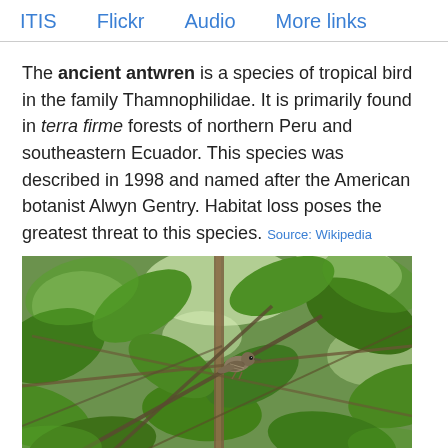ITIS   Flickr   Audio   More links
The ancient antwren is a species of tropical bird in the family Thamnophilidae. It is primarily found in terra firme forests of northern Peru and southeastern Ecuador. This species was described in 1998 and named after the American botanist Alwyn Gentry. Habitat loss poses the greatest threat to this species. Source: Wikipedia
[Figure (photo): A small bird (ancient antwren) perched on a branch among dense green tropical foliage and leaves.]